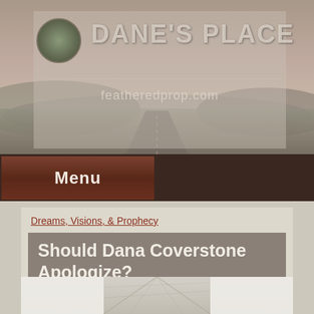DANE'S PLACE — featheredprop.com
Menu
Dreams, Visions, & Prophecy
Should Dana Coverstone Apologize?
Written by Dane. Date of post: December 7, 2020. Leave a comment
[Figure (photo): Bottom portion of an interior ceiling image, partially visible, with two bright rectangular panels on the left and right and a central area with crossing lines.]